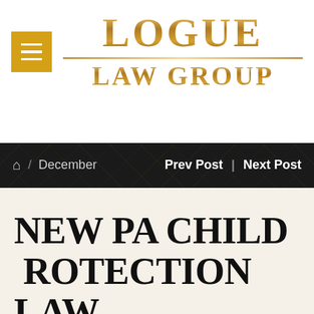[Figure (logo): Logue Law Group logo with golden serif text and hamburger menu icon on amber background]
Home / December   Prev Post | Next Post
NEW PA CHILD PROTECTION LAW WILL EXPAND